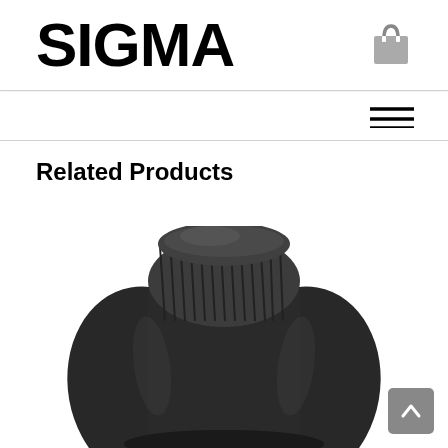SIGMA
Related Products
[Figure (photo): Black camera lens hood, tulip/petal shaped, dark gray with ribbed texture on top section, photographed from above on white background]